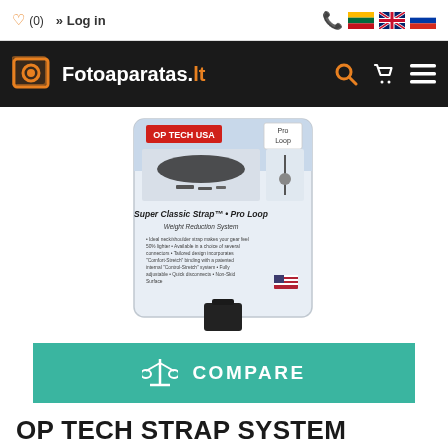(0) Log in
[Figure (logo): Fotoaparatas.lt website logo with orange camera icon on black navigation bar]
[Figure (photo): OP Tech USA Super Classic Strap Pro Loop product packaging photo showing camera strap with black neoprene section]
[Figure (other): Teal COMPARE button with balance scale icon]
OP TECH STRAP SYSTEM SUPER CLASSIC-STRAP PRO LOOP